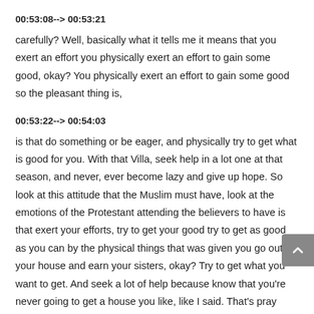00:53:08--> 00:53:21
carefully? Well, basically what it tells me it means that you exert an effort you physically exert an effort to gain some good, okay? You physically exert an effort to gain some good so the pleasant thing is,
00:53:22--> 00:54:03
is that do something or be eager, and physically try to get what is good for you. With that Villa, seek help in a lot one at that season, and never, ever become lazy and give up hope. So look at this attitude that the Muslim must have, look at the emotions of the Protestant attending the believers to have is that exert your efforts, try to get your good try to get as good as you can by the physical things that was given you go out of your house and earn your sisters, okay? Try to get what you want to get. And seek a lot of help because know that you're never going to get a house you like, like I said. That's pray